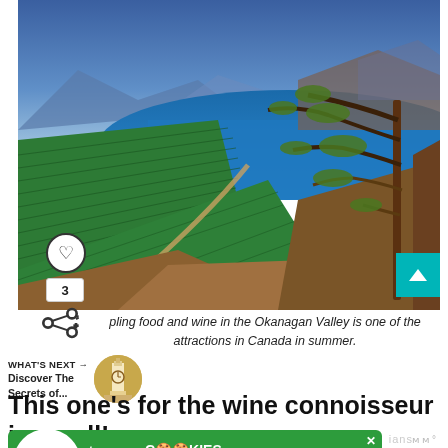[Figure (photo): Aerial view of vineyard rows in the Okanagan Valley with a large blue lake and mountains in background, pine tree on the right side, blue sky above]
pling food and wine in the Okanagan Valley is one of the attractions in Canada in summer.
WHAT'S NEXT → Discover The Secrets of...
This one's for the wine connoisseur in us all!
[Figure (infographic): Advertisement banner: cookies for kids cancer - turn your COOKIES into a CURE LEARN HOW]